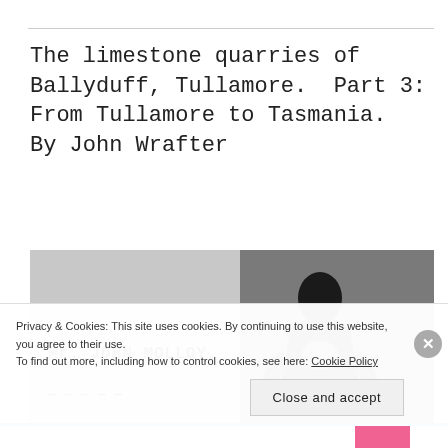The limestone quarries of Ballyduff, Tullamore.  Part 3: From Tullamore to Tasmania. By John Wrafter
[Figure (photo): Black and white historical image split into two sections: left side is lighter grey showing bold text 'Mr. JOHN MOLLOY,' with a partial second line below; right side is darker showing a silhouette of a person.]
Privacy & Cookies: This site uses cookies. By continuing to use this website, you agree to their use.
To find out more, including how to control cookies, see here: Cookie Policy
Close and accept